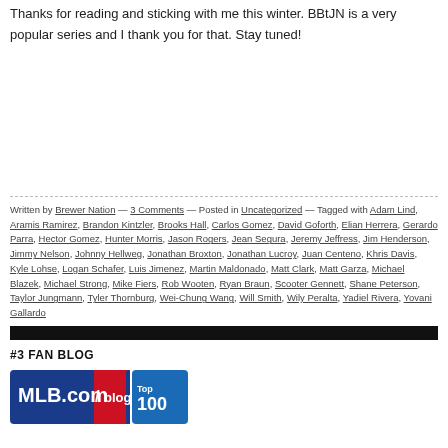Thanks for reading and sticking with me this winter. BBtJN is a very popular series and I thank you for that. Stay tuned!
Written by Brewer Nation — 3 Comments — Posted in Uncategorized — Tagged with Adam Lind, Aramis Ramirez, Brandon Kintzler, Brooks Hall, Carlos Gomez, David Goforth, Elian Herrera, Gerardo Parra, Hector Gomez, Hunter Morris, Jason Rogers, Jean Segura, Jeremy Jeffress, Jim Henderson, Jimmy Nelson, Johnny Hellweg, Jonathan Broxton, Jonathan Lucroy, Juan Centeno, Khris Davis, Kyle Lohse, Logan Schafer, Luis Jimenez, Martin Maldonado, Matt Clark, Matt Garza, Michael Blazek, Michael Strong, Mike Fiers, Rob Wooten, Ryan Braun, Scooter Gennett, Shane Peterson, Taylor Jungmann, Tyler Thornburg, Wei-Chung Wang, Will Smith, Wily Peralta, Yadiel Rivera, Yovani Gallardo
#3 FAN BLOG
[Figure (logo): MLB.com/blogs Top 100 badge]